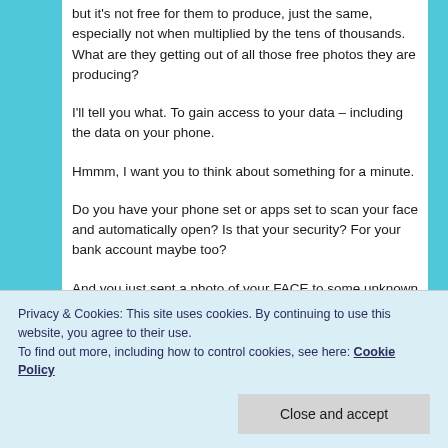but it's not free for them to produce, just the same, especially not when multiplied by the tens of thousands. What are they getting out of all those free photos they are producing?
I'll tell you what. To gain access to your data – including the data on your phone.
Hmmm, I want you to think about something for a minute.
Do you have your phone set or apps set to scan your face and automatically open? Is that your security? For your bank account maybe too?
And you just sent a photo of your FACE to some unknown
Privacy & Cookies: This site uses cookies. By continuing to use this website, you agree to their use.
To find out more, including how to control cookies, see here: Cookie Policy
Close and accept